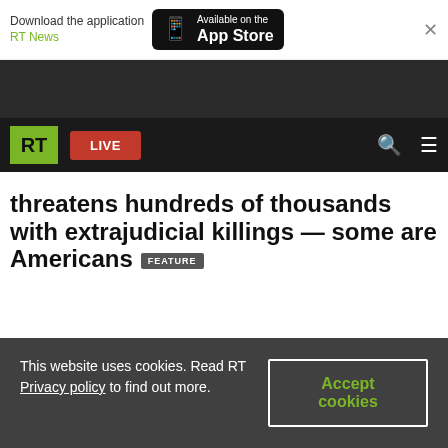[Figure (screenshot): App download banner with RT News branding and App Store button]
[Figure (photo): Dark image strip behind RT navigation bar]
[Figure (screenshot): RT News navigation bar with green RT logo, red LIVE button, search and menu icons]
threatens hundreds of thousands with extrajudicial killings — some are Americans FEATURE
This website uses cookies. Read RT Privacy policy to find out more.
Accept cookies